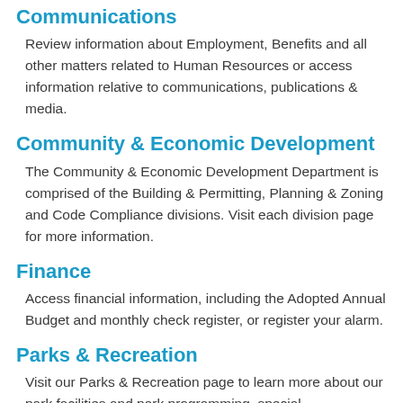Communications
Review information about Employment, Benefits and all other matters related to Human Resources or access information relative to communications, publications & media.
Community & Economic Development
The Community & Economic Development Department is comprised of the Building & Permitting, Planning & Zoning and Code Compliance divisions. Visit each division page for more information.
Finance
Access financial information, including the Adopted Annual Budget and monthly check register, or register your alarm.
Parks & Recreation
Visit our Parks & Recreation page to learn more about our park facilities and park programming, special